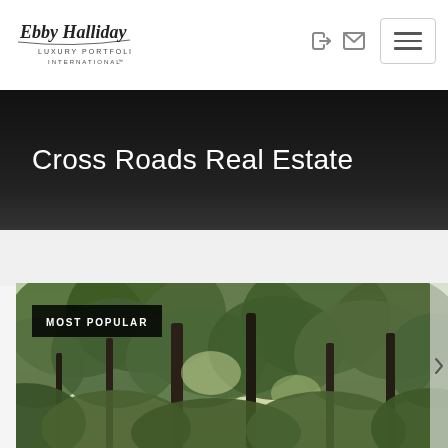[Figure (logo): Ebby Halliday Luxury Portfolio International logo]
Cross Roads Real Estate
[Figure (photo): Aerial/ground view of wooded area with large trees and green foliage, property listing photo with MOST POPULAR badge overlay]